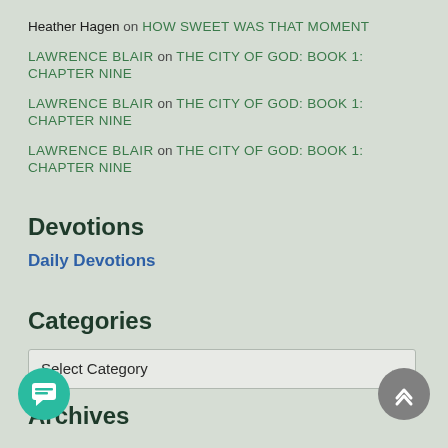Heather Hagen on HOW SWEET WAS THAT MOMENT
LAWRENCE BLAIR on THE CITY OF GOD: BOOK 1: CHAPTER NINE
LAWRENCE BLAIR on THE CITY OF GOD: BOOK 1: CHAPTER NINE
LAWRENCE BLAIR on THE CITY OF GOD: BOOK 1: CHAPTER NINE
Devotions
Daily Devotions
Categories
Select Category
Archives